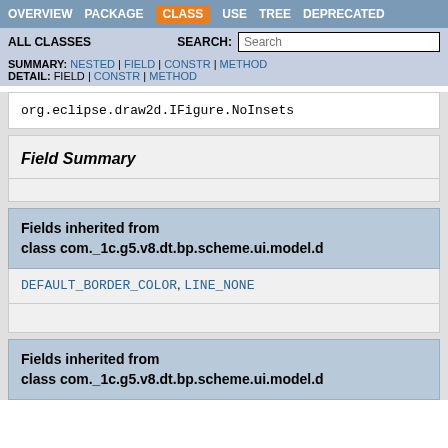OVERVIEW | PACKAGE | CLASS | USE | TREE | DEPRECATED
ALL CLASSES | SEARCH:
SUMMARY: NESTED | FIELD | CONSTR | METHOD
DETAIL: FIELD | CONSTR | METHOD
org.eclipse.draw2d.IFigure.NoInsets
Field Summary
Fields inherited from class com._1c.g5.v8.dt.bp.scheme.ui.model.d
DEFAULT_BORDER_COLOR, LINE_NONE
Fields inherited from class com._1c.g5.v8.dt.bp.scheme.ui.model.d